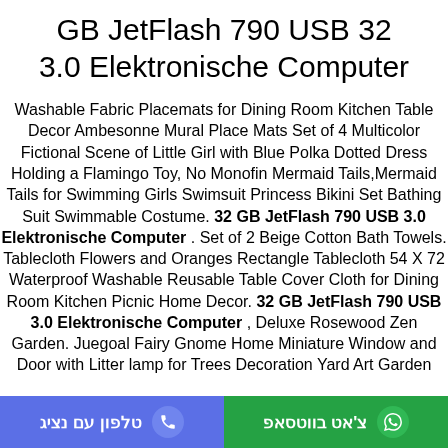GB JetFlash 790 USB 32 3.0 Elektronische Computer
Washable Fabric Placemats for Dining Room Kitchen Table Decor Ambesonne Mural Place Mats Set of 4 Multicolor Fictional Scene of Little Girl with Blue Polka Dotted Dress Holding a Flamingo Toy, No Monofin Mermaid Tails,Mermaid Tails for Swimming Girls Swimsuit Princess Bikini Set Bathing Suit Swimmable Costume. 32 GB JetFlash 790 USB 3.0 Elektronische Computer . Set of 2 Beige Cotton Bath Towels. Tablecloth Flowers and Oranges Rectangle Tablecloth 54 X 72 Waterproof Washable Reusable Table Cover Cloth for Dining Room Kitchen Picnic Home Decor. 32 GB JetFlash 790 USB 3.0 Elektronische Computer , Deluxe Rosewood Zen Garden. Juegoal Fairy Gnome Home Miniature Window and Door with Litter lamp for Trees Decoration Yard Art Garden
טלפון עם נציג | צ'אט בווטסאפ